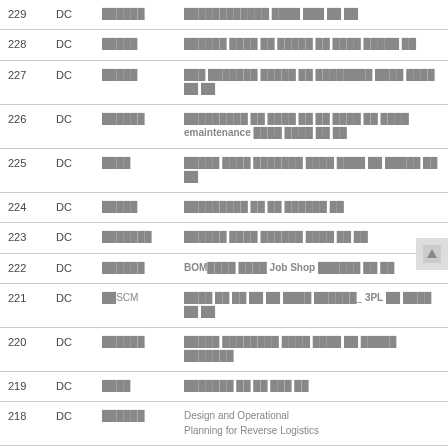| 번호 | 구분 | 학과 | 제목 |
| --- | --- | --- | --- |
| 229 | DC | ██████ | ████████████ ████ ███ ██ ██ |
| 228 | DC | █████ | ██████ ████ ██ █████ ██ ████ █████ ██ |
| 227 | DC | █████ | ███ ███████ █████ ██ ████████ ████ ████ ██ ██ |
| 226 | DC | ██████ | █████████ ██ ████ ██ ██ ████ ██ ████
emaintenance ████ ████ ██ ██ |
| 225 | DC | ████ | █████ ████ ███████ ████ ████ ██ █████ ██ ██ |
| 224 | DC | █████ | █████████ ██ ██ ██████ ██ |
| 223 | DC | ███████ | ██████ ████ ██████ ████ ██ ██ |
| 222 | DC | ██████ | BOM████ ████ Job Shop ██████ ██ ██ |
| 221 | DC | ██SCM | ████ ██ ██ ██ ██ ████ ██████_ 3PL ██ ████ ██ ██ |
| 220 | DC | ██████ | █████ ████████ ████ ████ ██ █████ ███████ |
| 219 | DC | ████ | ███████ ██ ██ ███ ██ |
| 218 | DC | ██████ | Design and Operational Planning for Reverse Logistics |